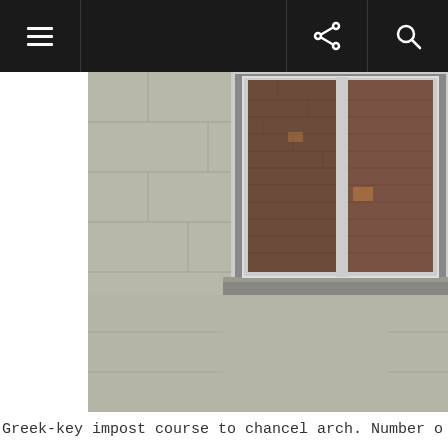Navigation menu, share, and search icons
[Figure (photo): Close-up photograph of a concrete wall with a metal-framed window showing brick behind glass panes. The window has a stone or concrete sill/lintel. The concrete wall surface shows block jointing.]
Greek-key impost course to chancel arch. Number o